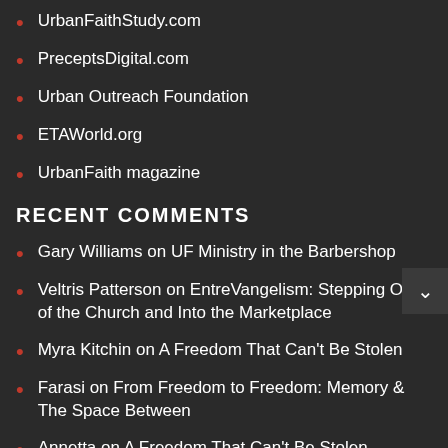UrbanFaithStudy.com
PreceptsDigital.com
Urban Outreach Foundation
ETAWorld.org
UrbanFaith magazine
RECENT COMMENTS
Gary Williams on UF Ministry in the Barbershop
Veltris Patterson on EntreVangelism: Stepping Out of the Church and Into the Marketplace
Myra Kitchin on A Freedom That Can't Be Stolen
Farasi on From Freedom to Freedom: Memory & The Space Between
Annetta on A Freedom That Can't Be Stolen